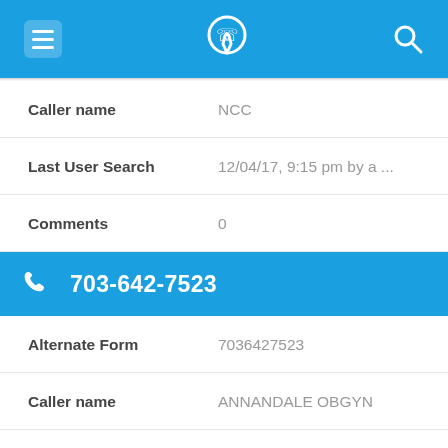703-642-7523 app screen header
Caller name: NCC
Last User Search: 12/04/17, 9:15 pm by a ...
Comments: 0
703-642-7523
Alternate Form: 7036427523
Caller name: ANNANDALE OBGYN
Last User Search: 08/23/17, 5:40 pm by a ...